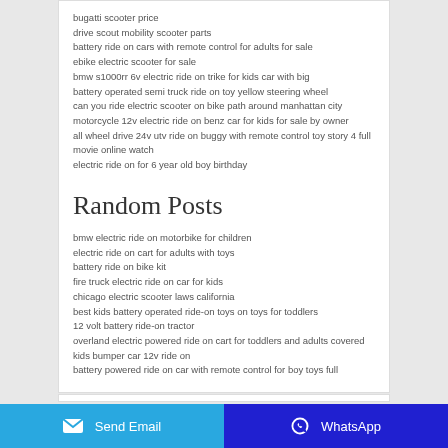bugatti scooter price
drive scout mobility scooter parts
battery ride on cars with remote control for adults for sale
ebike electric scooter for sale
bmw s1000rr 6v electric ride on trike for kids car with big
battery operated semi truck ride on toy yellow steering wheel
can you ride electric scooter on bike path around manhattan city
motorcycle 12v electric ride on benz car for kids for sale by owner
all wheel drive 24v utv ride on buggy with remote control toy story 4 full movie online watch
electric ride on for 6 year old boy birthday
Random Posts
bmw electric ride on motorbike for children
electric ride on cart for adults with toys
battery ride on bike kit
fire truck electric ride on car for kids
chicago electric scooter laws california
best kids battery operated ride-on toys on toys for toddlers
12 volt battery ride-on tractor
overland electric powered ride on cart for toddlers and adults covered
kids bumper car 12v ride on
battery powered ride on car with remote control for boy toys full